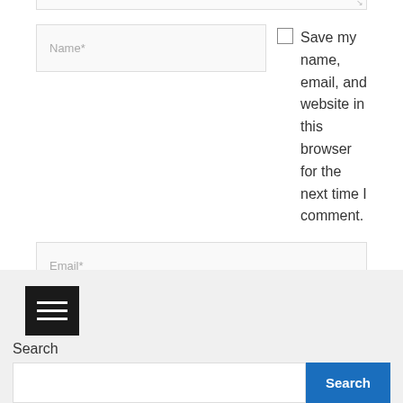[Figure (screenshot): Textarea bottom edge with resize handle, partially visible at top of page]
Name*
Email*
Website
Save my name, email, and website in this browser for the next time I comment.
Post Comment »
[Figure (screenshot): Hamburger menu icon (three horizontal white lines on black background)]
Search
Search